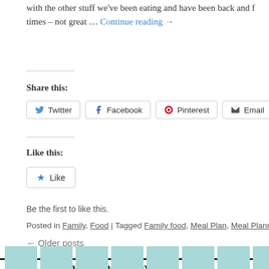with the other stuff we've been eating and have been back and f times – not great … Continue reading →
Share this:
Twitter  Facebook  Pinterest  Email
Like this:
★ Like
Be the first to like this.
Posted in Family, Food | Tagged Family food, Meal Plan, Meal Planning Mond…
← Older posts
It Takes A Woman  |  Privacy Policy